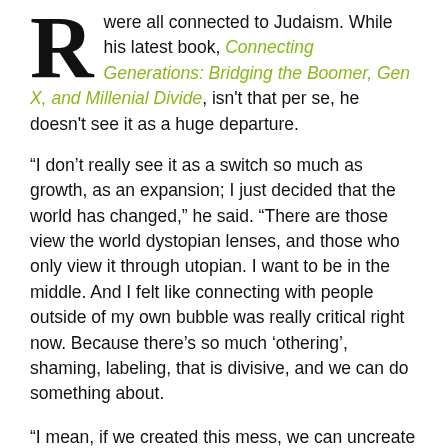R were all connected to Judaism. While his latest book, Connecting Generations: Bridging the Boomer, Gen X, and Millenial Divide, isn't that per se, he doesn't see it as a huge departure.
“I don’t really see it as a switch so much as growth, as an expansion; I just decided that the world has changed,” he said. “There are those view the world dystopian lenses, and those who only view it through utopian. I want to be in the middle. And I felt like connecting with people outside of my own bubble was really critical right now. Because there’s so much ‘othering’, shaming, labeling, that is divisive, and we can do something about.
“I mean, if we created this mess, we can uncreate it.”
Why Herring chose to write the book now wasn’t